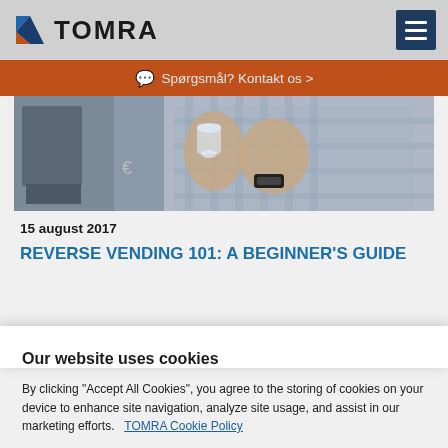TOMRA
Spørgsmål? Kontakt os >
[Figure (photo): Person inserting a plastic bottle into a reverse vending machine]
15 august 2017
REVERSE VENDING 101: A BEGINNER'S GUIDE
Our website uses cookies
By clicking "Accept All Cookies", you agree to the storing of cookies on your device to enhance site navigation, analyze site usage, and assist in our marketing efforts.   TOMRA Cookie Policy
Cookies Settings    Accept All Cookies